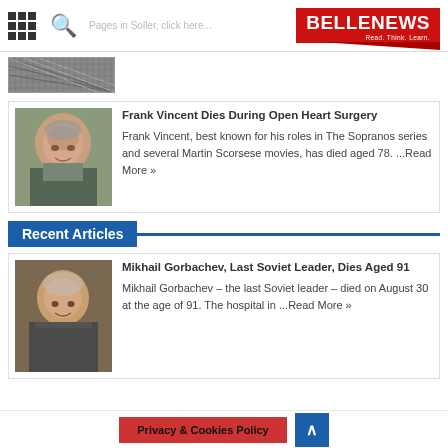BELLENEWS - Read. Think. Learn.
[Figure (photo): Partial thumbnail strip with crosshatch/mesh texture pattern]
Frank Vincent Dies During Open Heart Surgery
[Figure (photo): Photo of Frank Vincent, older man with gray hair, smiling]
Frank Vincent, best known for his roles in The Sopranos series and several Martin Scorsese movies, has died aged 78. ...Read More »
Recent Articles
Mikhail Gorbachev, Last Soviet Leader, Dies Aged 91
[Figure (photo): Photo of Mikhail Gorbachev, elderly man in dark jacket]
Mikhail Gorbachev – the last Soviet leader – died on August 30 at the age of 91. The hospital in ...Read More »
Privacy & Cookies Policy